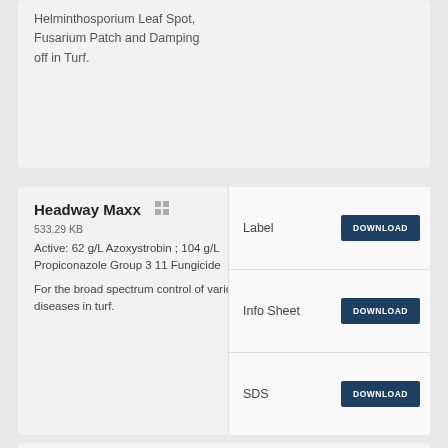Helminthosporium Leaf Spot, Fusarium Patch and Damping off in Turf.
Headway Maxx
533.29 KB
Active: 62 g/L Azoxystrobin ; 104 g/L Propiconazole Group 3 11 Fungicide
For the broad spectrum control of various diseases in turf.
| Type | Action |
| --- | --- |
| Label | DOWNLOAD |
| Info Sheet | DOWNLOAD |
| SDS | DOWNLOAD |
Heritage Maxx
524.75 KB
Active: 95 g/Kg Azoxystrobin Group 11 Fungicide
| Type | Action |
| --- | --- |
| Label | DOWNLOAD |
| Info Sheet | DOWNLOAD |